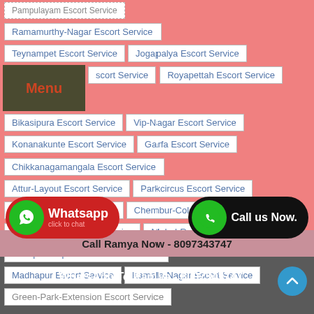Ramamurthy-Nagar Escort Service
Teynampet Escort Service
Jogapalya Escort Service
scort Service
Royapettah Escort Service
Bikasipura Escort Service
Vip-Nagar Escort Service
Konanakunte Escort Service
Garfa Escort Service
Chikkanagamangala Escort Service
Attur-Layout Escort Service
Parkcircus Escort Service
C-Scheme Escort Service
Chembur-Colony Escort Service
Saniya-Hemad Escort Service
Mahal-Road Escort Service
Senapati-Bapat-Road Escort Service
Madhapur Escort Service
Kamala-Nagar Escort Service
Green-Park-Extension Escort Service
Call Ramya Now - 8097343747
WhatsApp To Ramya - 8097343747